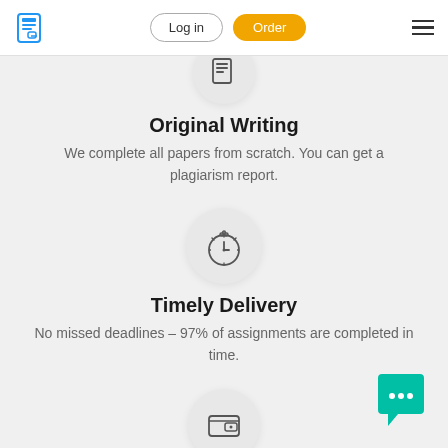Log in | Order
[Figure (illustration): Partially visible circular icon at top (document/writing icon)]
Original Writing
We complete all papers from scratch. You can get a plagiarism report.
[Figure (illustration): Stopwatch/timer icon in a light gray circle]
Timely Delivery
No missed deadlines – 97% of assignments are completed in time.
[Figure (illustration): Wallet icon in a light gray circle (partially visible at bottom)]
[Figure (illustration): Teal chat bubble with three dots in bottom right corner]